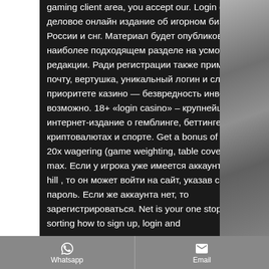gaming client area, you accept our. Login casino - деловое онлайн издание об игорном бизнесе в России и снг. Материал будет опубликован в наиболее подходящем разделе на усмотрение редакции. Ради регистрации также применяют почту, вертушка, уникальный логин и слово. Во приоритете казино — безвредность инвесторов возможно. 18+ «login casino» – крупнейшее в снг интернет-издание о гемблинге, беттинге, криптовалютах и спорте. Get a bonus of up to $100. 20x wagering (game weighting, table coverage and max. Если у игрока уже имеется аккаунт в william hill , то он может войти на сайт, указав свой логин и пароль. Если же аккаунта нет, то зарегистрироваться. Net is your one stop solution to sorting how to sign up, login and
Whatsapp   Email